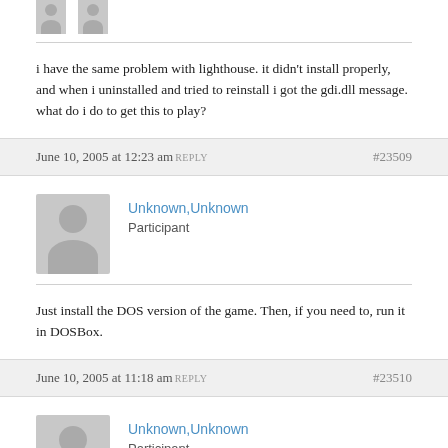[Figure (illustration): Two small gray user avatar placeholders at the top]
i have the same problem with lighthouse. it didn't install properly, and when i uninstalled and tried to reinstall i got the gdi.dll message. what do i do to get this to play?
June 10, 2005 at 12:23 am REPLY #23509
[Figure (illustration): Gray user avatar placeholder for Unknown,Unknown Participant]
Unknown,Unknown
Participant
Just install the DOS version of the game. Then, if you need to, run it in DOSBox.
June 10, 2005 at 11:18 am REPLY #23510
[Figure (illustration): Gray user avatar placeholder for Unknown,Unknown Participant]
Unknown,Unknown
Participant